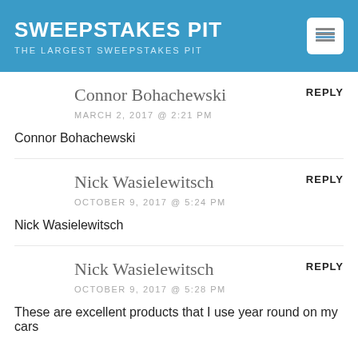SWEEPSTAKES PIT — THE LARGEST SWEEPSTAKES PIT
Connor Bohachewski
MARCH 2, 2017 @ 2:21 PM
REPLY
Connor Bohachewski
Nick Wasielewitsch
OCTOBER 9, 2017 @ 5:24 PM
REPLY
Nick Wasielewitsch
Nick Wasielewitsch
OCTOBER 9, 2017 @ 5:28 PM
REPLY
These are excellent products that I use year round on my cars